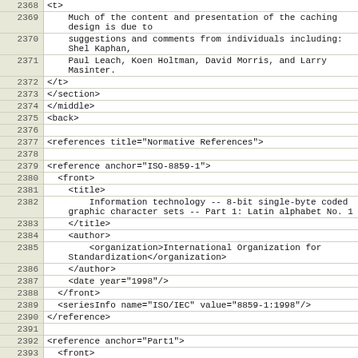| line | code |
| --- | --- |
| 2368 | <t> |
| 2369 |     Much of the content and presentation of the caching
    design is due to |
| 2370 |     suggestions and comments from individuals including:
    Shel Kaphan, |
| 2371 |     Paul Leach, Koen Holtman, David Morris, and Larry
    Masinter. |
| 2372 | </t> |
| 2373 | </section> |
| 2374 | </middle> |
| 2375 | <back> |
| 2376 |  |
| 2377 | <references title="Normative References"> |
| 2378 |  |
| 2379 | <reference anchor="ISO-8859-1"> |
| 2380 |   <front> |
| 2381 |     <title> |
| 2382 |         Information technology -- 8-bit single-byte coded
    graphic character sets -- Part 1: Latin alphabet No. 1 |
| 2383 |     </title> |
| 2384 |     <author> |
| 2385 |         <organization>International Organization for
    Standardization</organization> |
| 2386 |     </author> |
| 2387 |     <date year="1998"/> |
| 2388 |   </front> |
| 2389 |   <seriesInfo name="ISO/IEC" value="8859-1:1998"/> |
| 2390 | </reference> |
| 2391 |  |
| 2392 | <reference anchor="Part1"> |
| 2393 |   <front> |
| 2394 |     <title abbrev="HTTP/1.1">HTTP/1.1, part 1: URIs,
    Connections, and Message Parsing</title> |